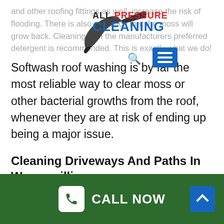ALL PRESSURE CLEANING
and other roofing fittings as well. increase the risk of flooding. There is also a chance that the moss will grow back. Cleaning with the manufacturers preferred detergent is recommended. This is exactly what we do!
Softwash roof washing is by far the most reliable way to clear moss or other bacterial growths from the roof, whenever they are at risk of ending up being a major issue.
Cleaning Driveways And Paths In Wongawilli
We clean up, paint and seal driveways, paths and concrete utilizing our advanced cleaning and
CALL NOW